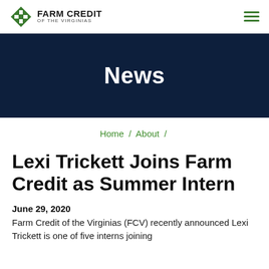Farm Credit of the Virginias
News
Home / About /
Lexi Trickett Joins Farm Credit as Summer Intern
June 29, 2020
Farm Credit of the Virginias (FCV) recently announced Lexi Trickett is one of five interns joining